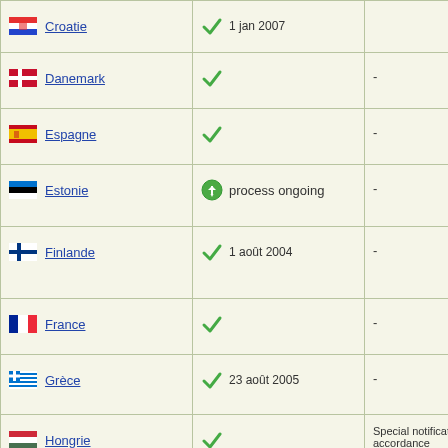| Country | Status | Notes |
| --- | --- | --- |
| Croatie | ✓ 1 jan 2007 (partial) | - |
| Danemark | ✓ | - |
| Espagne | ✓ | - |
| Estonie | ⟳ process ongoing | - |
| Finlande | ✓ 1 août 2004 | - |
| France | ✓ | - |
| Grèce | ✓ 23 août 2005 | - |
| Hongrie | ✓ | Special notification in accordance... |